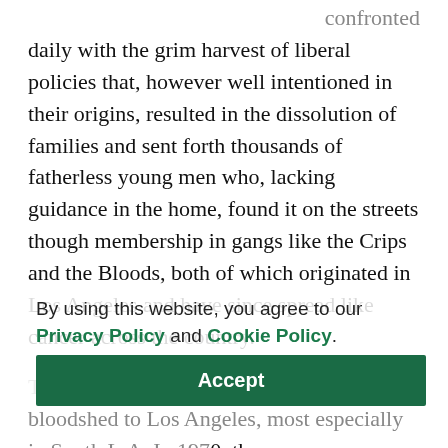confronted daily with the grim harvest of liberal policies that, however well intentioned in their origins, resulted in the dissolution of families and sent forth thousands of fatherless young men who, lacking guidance in the home, found it on the streets though membership in gangs like the Crips and the Bloods, both of which originated in Los Angeles and have since spread like cancer across the country.
The city's gang culture brought horrific bloodshed to Los Angeles, most especially in South L.A. In 1970, the LAPD handled 517 murders. By 1980 the number had almost doubled, to 1,028, and when gang culture coalesced with the cocaine epidemic in the early '80s the result was even more explosive. It wasn't until 1997 that the city's murder total fell back below 700,
By using this website, you agree to our Privacy Policy and Cookie Policy.
Accept